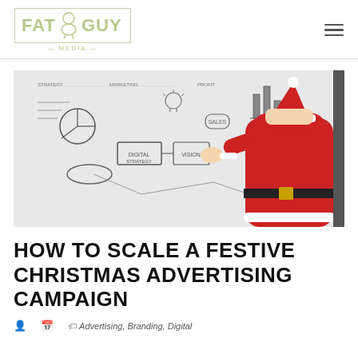FAT GUY MEDIA
[Figure (photo): Santa Claus (red suit, hat, black belt) viewed from behind, writing or pointing at a whiteboard covered in business diagrams, charts, flowcharts, and marketing notes drawn in marker.]
HOW TO SCALE A FESTIVE CHRISTMAS ADVERTISING CAMPAIGN
Advertising, Branding, Digital